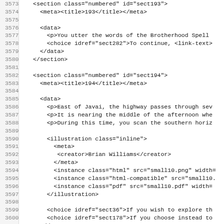Source code listing, lines 3573–3605, XML/markup format